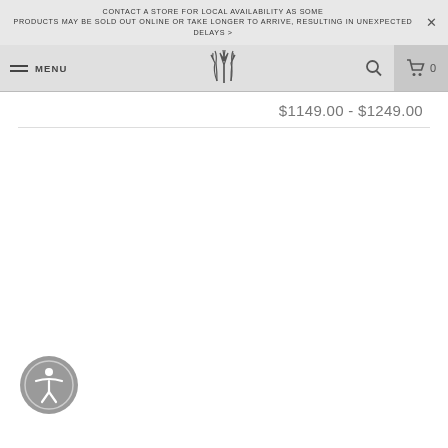CONTACT A STORE FOR LOCAL AVAILABILITY AS SOME PRODUCTS MAY BE SOLD OUT ONLINE OR TAKE LONGER TO ARRIVE, RESULTING IN UNEXPECTED DELAYS >
MENU [logo] [search] [cart] 0
$1149.00 - $1249.00
[Figure (other): Accessibility icon button - circular gray button with person/human figure icon]